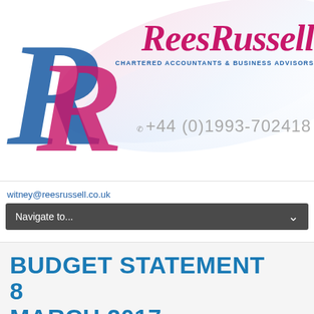[Figure (logo): ReesRussell Chartered Accountants & Business Advisors logo with large stylized R letters in blue and pink/magenta, brand name in italic pink script, tagline in blue uppercase letters, and phone number +44 (0)1993-702418]
witney@reesrussell.co.uk
Navigate to...
BUDGET STATEMENT 8 MARCH 2017